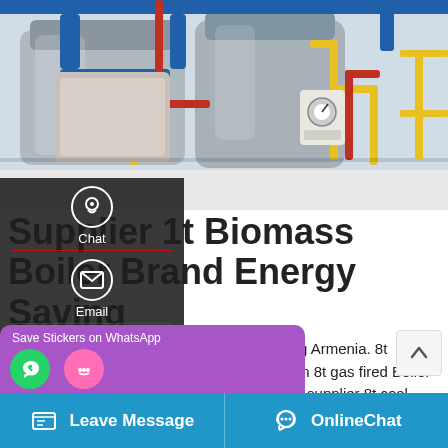[Figure (photo): Industrial boiler room with large cylindrical boilers, blue and yellow pipes, red pipes, gauges and equipment on white floor]
Supplier 1t Biomass Boiler Brand Energy Saving
Seller 1t Biomass Boiler Plant Energy Saving Armenia. 8t Biomass Fired Boiler Plant Supplier Tajikistan 8t gas fired Boiler High Efficiency Turkmenistan. energy saving supplier 8t coal fired boiler philippine As one of the project cores, the gas-fired boiler …82 MPa and a rated steam
Leave Message   OnlineChat